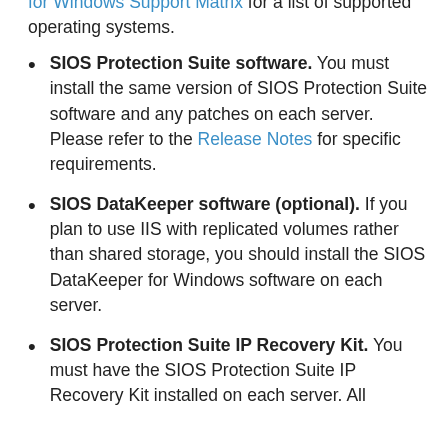for Windows Support Matrix for a list of supported operating systems.
SIOS Protection Suite software. You must install the same version of SIOS Protection Suite software and any patches on each server. Please refer to the Release Notes for specific requirements.
SIOS DataKeeper software (optional). If you plan to use IIS with replicated volumes rather than shared storage, you should install the SIOS DataKeeper for Windows software on each server.
SIOS Protection Suite IP Recovery Kit. You must have the SIOS Protection Suite IP Recovery Kit installed on each server. All